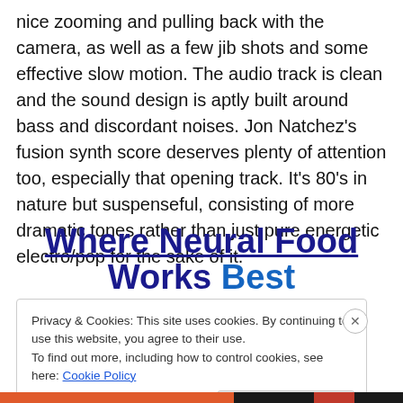nice zooming and pulling back with the camera, as well as a few jib shots and some effective slow motion. The audio track is clean and the sound design is aptly built around bass and discordant noises. Jon Natchez's fusion synth score deserves plenty of attention too, especially that opening track. It's 80's in nature but suspenseful, consisting of more dramatic tones rather than just pure energetic electro/pop for the sake of it.
Where Neural Food Works Best
Privacy & Cookies: This site uses cookies. By continuing to use this website, you agree to their use. To find out more, including how to control cookies, see here: Cookie Policy
Close and accept